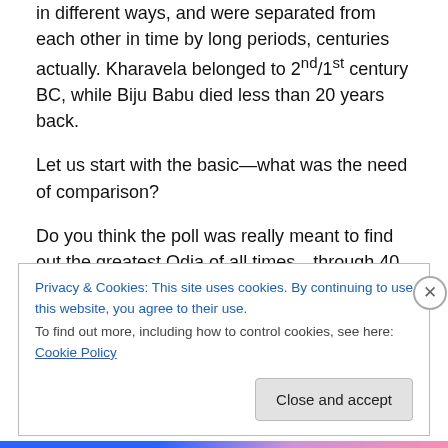compare them — all greats in their own rights, contributed in different ways, and were separated from each other in time by long periods, centuries actually. Kharavela belonged to 2nd/1st century BC, while Biju Babu died less than 20 years back.
Let us start with the basic—what was the need of comparison?
Do you think the poll was really meant to find out the greatest Odia of all times—through 40 odd expected responses (yes; that was the target)?
Privacy & Cookies: This site uses cookies. By continuing to use this website, you agree to their use.
To find out more, including how to control cookies, see here: Cookie Policy